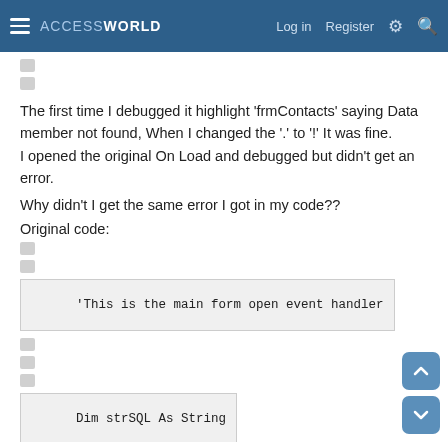ACCESSWORLD — Log in  Register
The first time I debugged it highlight 'frmContacts' saying Data member not found, When I changed the '.' to '!' It was fine.
I opened the original On Load and debugged but didn't get an error.
Why didn't I get the same error I got in my code??
Original code:
'This is the main form open event handler
Dim strSQL As String